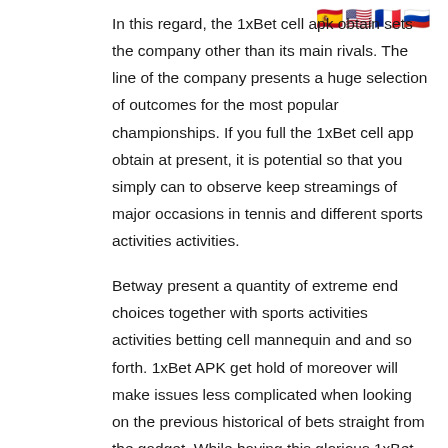[Figure (illustration): Four country flag emoji icons in a row: Spain, USA, France, Russia]
In this regard, the 1xBet cell apk obtain sets the company other than its main rivals. The line of the company presents a huge selection of outcomes for the most popular championships. If you full the 1xBet cell app obtain at present, it is potential so that you simply can to observe keep streamings of major occasions in tennis and different sports activities activities.
Betway present a quantity of extreme end choices together with sports activities activities betting cell mannequin and and so forth. 1xBet APK get hold of moreover will make issues less complicated when looking on the previous historical of bets straight from the gadget. While having this glorious 1xBet cell app, keep hold of the direct access